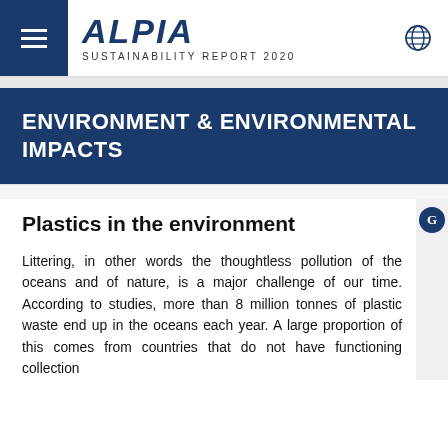ALPIA SUSTAINABILITY REPORT 2020
ENVIRONMENT & ENVIRONMENTAL IMPACTS
Plastics in the environment
Littering, in other words the thoughtless pollution of the oceans and of nature, is a major challenge of our time. According to studies, more than 8 million tonnes of plastic waste end up in the oceans each year. A large proportion of this comes from countries that do not have functioning collection